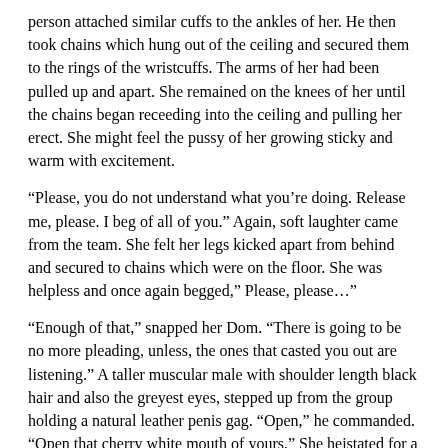person attached similar cuffs to the ankles of her. He then took chains which hung out of the ceiling and secured them to the rings of the wristcuffs. The arms of her had been pulled up and apart. She remained on the knees of her until the chains began receeding into the ceiling and pulling her erect. She might feel the pussy of her growing sticky and warm with excitement.
“Please, you do not understand what you’re doing. Release me, please. I beg of all of you.” Again, soft laughter came from the team. She felt her legs kicked apart from behind and secured to chains which were on the floor. She was helpless and once again begged,” Please, please…”
“Enough of that,” snapped her Dom. “There is going to be no more pleading, unless, the ones that casted you out are listening.” A taller muscular male with shoulder length black hair and also the greyest eyes, stepped up from the group holding a natural leather penis gag. “Open,” he commanded. “Open that cherry white mouth of yours.” She heistated for a short time, just to have her hair pulled sharply. She let out a scream, allowing the gag to be shoved into the mouth of her and locked behind the head of her. She moaned softly and shaking the head of her, trying her better to push the gag out.
“I bet she was thrown out for being a slut,” purred a red haired